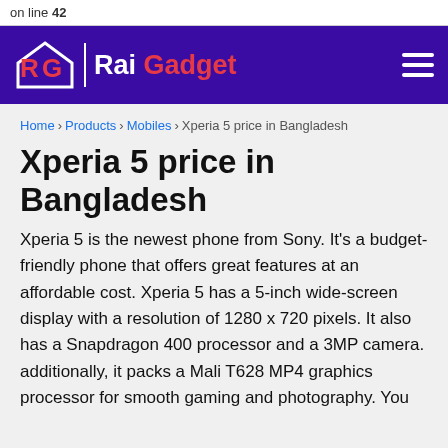on line 42
[Figure (logo): Rai Gadget logo with stylized RG letters in red on purple background, site name 'Rai Gadget' in white and red]
Home › Products › Mobiles › Xperia 5 price in Bangladesh
Xperia 5 price in Bangladesh
Xperia 5 is the newest phone from Sony. It's a budget-friendly phone that offers great features at an affordable cost. Xperia 5 has a 5-inch wide-screen display with a resolution of 1280 x 720 pixels. It also has a Snapdragon 400 processor and a 3MP camera. additionally, it packs a Mali T628 MP4 graphics processor for smooth gaming and photography. You